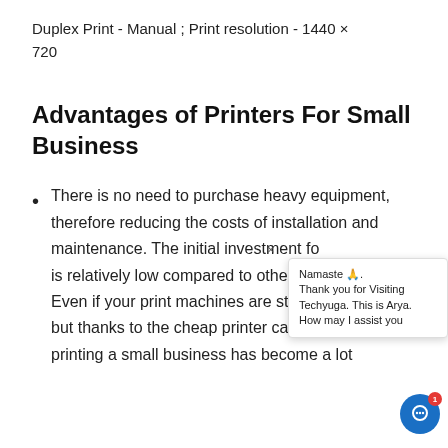Duplex Print - Manual ; Print resolution - 1440 × 720
Advantages of Printers For Small Business
There is no need to purchase heavy equipment, therefore reducing the costs of installation and maintenance. The initial investment fo is relatively low compared to other eq Even if your print machines are still ex but thanks to the cheap printer cartridges, printing a small business has become a lot